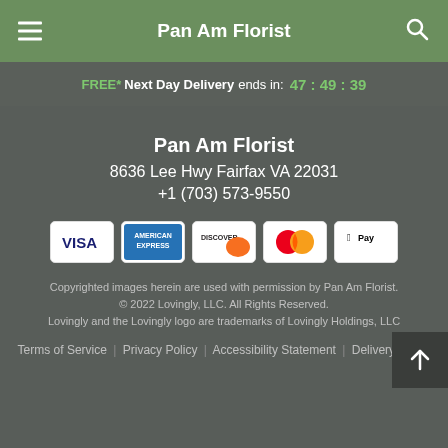Pan Am Florist
FREE* Next Day Delivery ends in: 47 : 49 : 39
Pan Am Florist
8636 Lee Hwy Fairfax VA 22031
+1 (703) 573-9550
[Figure (logo): Payment method icons: Visa, American Express, Discover, Mastercard, Apple Pay]
Copyrighted images herein are used with permission by Pan Am Florist.
© 2022 Lovingly, LLC. All Rights Reserved.
Lovingly and the Lovingly logo are trademarks of Lovingly Holdings, LLC
Terms of Service | Privacy Policy | Accessibility Statement | Delivery Policy